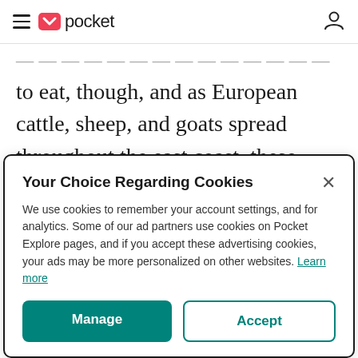pocket
to eat, though, and as European cattle, sheep, and goats spread throughout the east coast, these native grasses disappeared. Once those grasses were gone, many animals died following those first winters from starvation or from eating
Your Choice Regarding Cookies
We use cookies to remember your account settings, and for analytics. Some of our ad partners use cookies on Pocket Explore pages, and if you accept these advertising cookies, your ads may be more personalized on other websites. Learn more
Manage  Accept